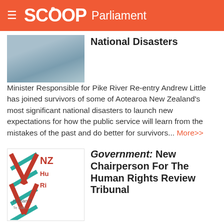SCOOP Parliament
National Disasters
Minister Responsible for Pike River Re-entry Andrew Little has joined survivors of some of Aotearoa New Zealand's most significant national disasters to launch new expectations for how the public service will learn from the mistakes of the past and do better for survivors... More>>
Government: New Chairperson For The Human Rights Review Tribunal
Sarah Eyre, of Wellington, has been appointed as the new Chairperson of the Human Rights Review Tribunal, Associate Minister of Justice Aupito William Sio announced today... More>>
Local Government: Guide To Getting To Know Your Local